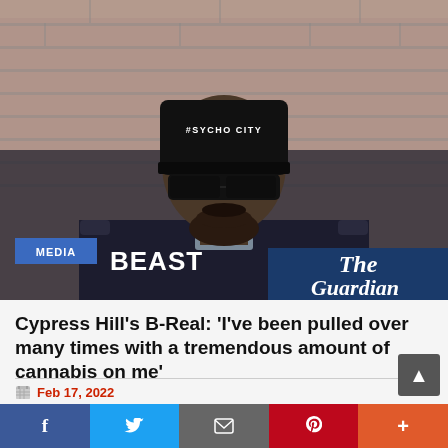[Figure (photo): B-Real of Cypress Hill wearing a black 'PSYCHO CITY' beanie, dark sunglasses, and a black bomber jacket with 'BEASTMODE' text, standing in front of a brick wall. The Guardian logo appears in the bottom right overlay.]
MEDIA
Cypress Hill's B-Real: 'I've been pulled over many times with a tremendous amount of cannabis on me'
Feb 17, 2022
The rapper answers your questions about his passion for weed, the group's appeal to 90s rock kids – and their beef with Ice Cube.